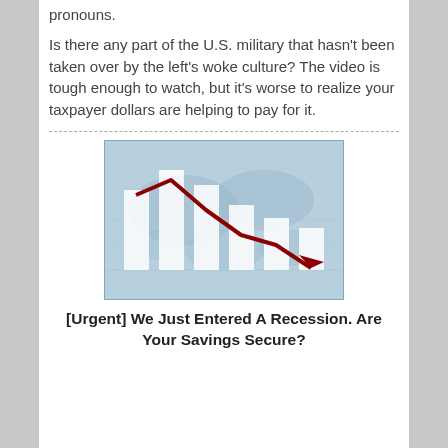pronouns.
Is there any part of the U.S. military that hasn't been taken over by the left's woke culture? The video is tough enough to watch, but it's worse to realize your taxpayer dollars are helping to pay for it.
[Figure (illustration): Stock market chart image showing declining bar chart with a red downward-trending line overlaid on a world map background, suggesting economic recession.]
[Urgent] We Just Entered A Recession. Are Your Savings Secure?